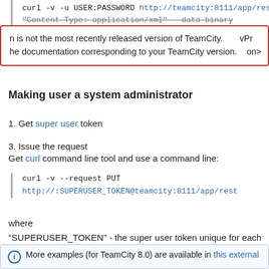curl -v -u USER:PASSWORD http://teamcity:8111/app/rest/pro
"Content-Type: application/xml" --data-binary
n is not the most recently released version of TeamCity.
he documentation corresponding to your TeamCity version.
Making user a system administrator
1. Get super user token
3. Issue the request
Get curl command line tool and use a command line:
curl -v --request PUT
http://:SUPERUSER_TOKEN@teamcity:8111/app/rest
where
"SUPERUSER_TOKEN" - the super user token unique for each serve
"teamcity:8111" - the TeamCity server URL
"USERNAME" - the username of the user to be made the system adm
More examples (for TeamCity 8.0) are available in this external